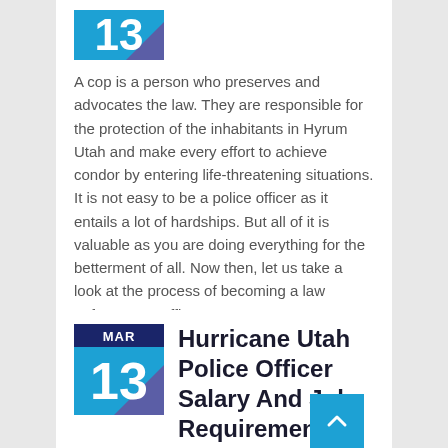[Figure (other): Calendar date badge showing MAR 13, partially cropped at top of page]
A cop is a person who preserves and advocates the law. They are responsible for the protection of the inhabitants in Hyrum Utah and make every effort to achieve condor by entering life-threatening situations. It is not easy to be a police officer as it entails a lot of hardships. But all of it is valuable as you are doing everything for the betterment of all. Now then, let us take a look at the process of becoming a law enforcement officer.
[Figure (other): Calendar date badge showing MAR 13]
Hurricane Utah Police Officer Salary And Job Requirements
A police officer is someone who maintains and upholds the law. They are responsible for the safety of citizens of Hurricane Utah and strive to achieve peace by putting their lives on the line. It is difficult being a cop as it